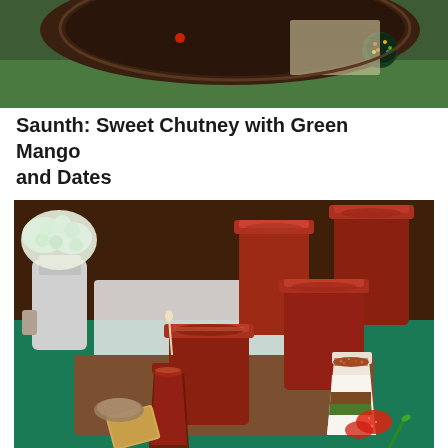[Figure (photo): Top portion of a food photograph showing dark chocolate cake or dish with colorful toppings on a decorative plate, with a map visible in the background on a green surface.]
Saunth: Sweet Chutney with Green Mango and Dates
[Figure (photo): Food photograph showing multiple glass jars filled with dark red-brown chutney (saunth) arranged on a wooden tray on a teal/green surface. A layered parfait glass with white, brown, and green layers topped with spice mix is visible on the right. Fresh strawberries, crackers, and a white flower arrangement in a vase are also visible.]